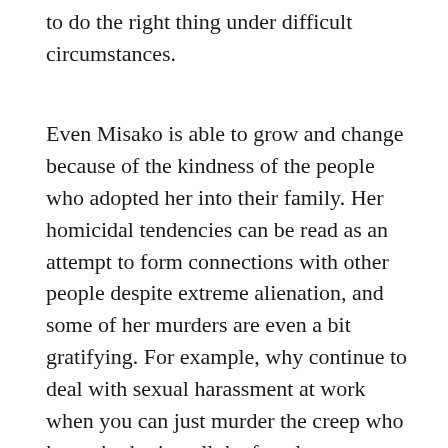to do the right thing under difficult circumstances.
Even Misako is able to grow and change because of the kindness of the people who adopted her into their family. Her homicidal tendencies can be read as an attempt to form connections with other people despite extreme alienation, and some of her murders are even a bit gratifying. For example, why continue to deal with sexual harassment at work when you can just murder the creep who keeps bothering all the female employees? In the end, the gentle Ryosuke is able to borrow strength from his mother's confessions; and, when his story finally intersects with hers, the result is